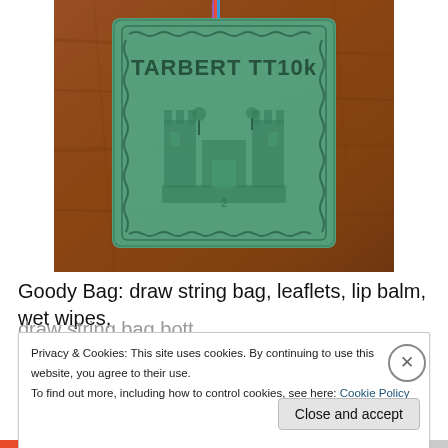[Figure (photo): A green ceramic medal with 'TARBERT TT10k' text and a castle relief image, hanging from a multicolored lanyard cord, placed on a wooden surface.]
Goody Bag: draw string bag, leaflets, lip balm, wet wipes,
Privacy & Cookies: This site uses cookies. By continuing to use this website, you agree to their use.
To find out more, including how to control cookies, see here: Cookie Policy
Close and accept